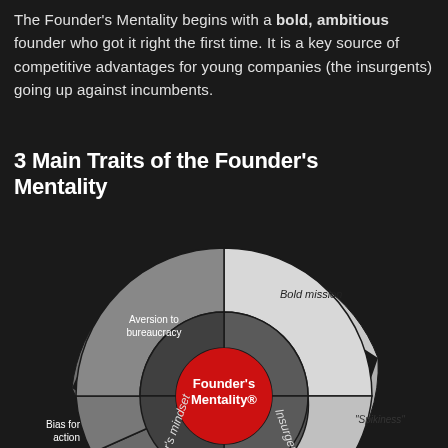The Founder's Mentality begins with a bold, ambitious founder who got it right the first time. It is a key source of competitive advantages for young companies (the insurgents) going up against incumbents.
3 Main Traits of the Founder's Mentality
[Figure (infographic): Circular donut/wheel diagram showing 3 Main Traits of the Founder's Mentality. Center red circle labeled 'Founder's Mentality®'. Three middle dark-gray sections: 'Insurgency', 'Owner's mindset', and an unlabeled section. Outer ring segments in lighter grays with labels: Bold mission, 'Spikiness', Limitless horizon, Strong cash focus, Bias for action, Aversion to bureaucracy.]